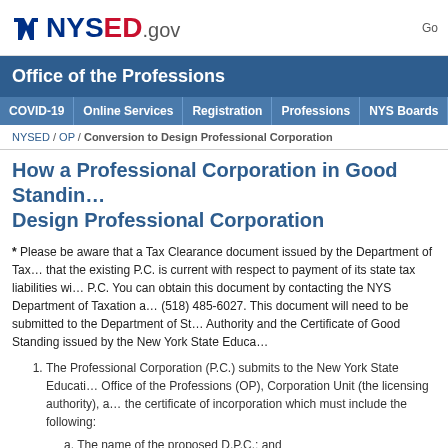NYSED.gov — Office of the Professions
Office of the Professions
COVID-19 | Online Services | Registration | Professions | NYS Boards | Enforcement | C
NYSED / OP / Conversion to Design Professional Corporation
How a Professional Corporation in Good Standing Converts to a Design Professional Corporation
* Please be aware that a Tax Clearance document issued by the Department of Tax... that the existing P.C. is current with respect to payment of its state tax liabilities will... P.C. You can obtain this document by contacting the NYS Department of Taxation a... (518) 485-6027. This document will need to be submitted to the Department of Sta... Authority and the Certificate of Good Standing issued by the New York State Educa...
1. The Professional Corporation (P.C.) submits to the New York State Educati... Office of the Professions (OP), Corporation Unit (the licensing authority), a... the certificate of incorporation which must include the following:
a. The name of the proposed D.P.C.; and
b. The profession or professions to be practiced by such corporation;
c. The names and residence addresses of all individuals or ESOPs wi...